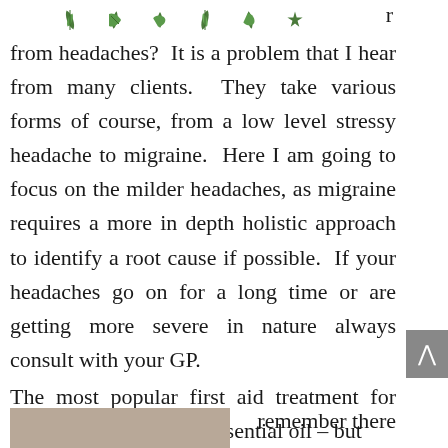[Figure (illustration): Decorative floral/leaf divider with small green leaf/star motifs arranged in a row]
r
from headaches?  It is a problem that I hear from many clients.  They take various forms of course, from a low level stressy headache to migraine.  Here I am going to focus on the milder headaches, as migraine requires a more in depth holistic approach to identify a root cause if possible.  If your headaches go on for a long time or are getting more severe in nature always consult with your GP.
The most popular first aid treatment for headaches is lavender essential oil – but
[Figure (photo): Partial photo of a reddish-brown/taupe colored object, likely a lavender essential oil bottle or related product]
remember there